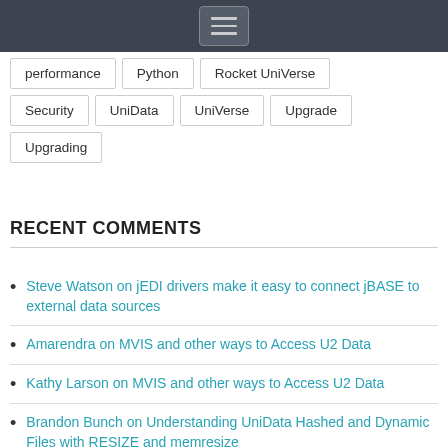Navigation bar with hamburger menu
performance
Python
Rocket UniVerse
Security
UniData
UniVerse
Upgrade
Upgrading
RECENT COMMENTS
Steve Watson on jEDI drivers make it easy to connect jBASE to external data sources
Amarendra on MVIS and other ways to Access U2 Data
Kathy Larson on MVIS and other ways to Access U2 Data
Brandon Bunch on Understanding UniData Hashed and Dynamic Files with RESIZE and memresize